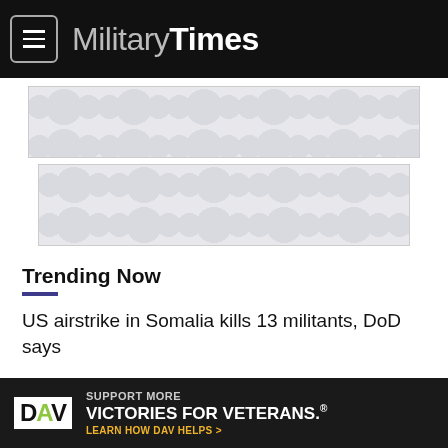Military Times
[Figure (other): Advertisement placeholder banner 1 with decorative dot/circle pattern background]
[Figure (other): Advertisement placeholder banner 2 with decorative dot/circle pattern background]
Trending Now
US airstrike in Somalia kills 13 militants, DoD says
DoD misspent more than $100 million on ambulance rides, audit reveals
'Seek and destroy': New US aid to Ukraine targets
[Figure (other): DAV advertisement banner: SUPPORT MORE VICTORIES FOR VETERANS. LEARN HOW DAV HELPS >]